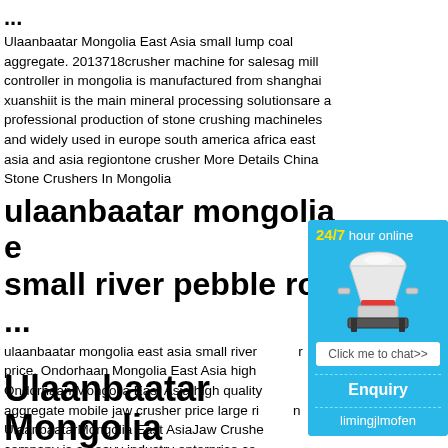...
Ulaanbaatar Mongolia East Asia small lump coal aggregate. 2013718crusher machine for salesag mill controller in mongolia is manufactured from shanghai xuanshiit is the main mineral processing solutionsare a professional production of stone crushing machineles and widely used in europe south america africa east asia and asia regiontone crusher More Details China Stone Crushers In Mongolia
ulaanbaatar mongolia east asia small river pebble roll ...
ulaanbaatar mongolia east asia small river ... price. Ondorhaan Mongolia East Asia high ... Ondorhaan Mongolia East Asia high quality ... aggregate mobile jaw crusher price large ri... UlaanbaatarMongolia East AsiaJaw Crushe... company is a heavy industry enterprise co... producing heavy mining machinery Mainly ...
Ulaanbaatar Mongolia
[Figure (infographic): Blue sidebar widget showing 24/7 hour online text in yellow and white, an image of a cone crusher machine, a white 'Click me to chat>>' button, a dashed divider, 'Enquiry' text, another dashed divider, and 'limingjlmofen' text at the bottom.]